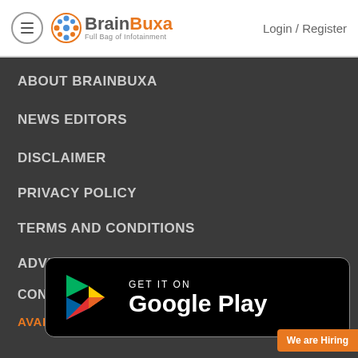BrainBuxa — Full Bag of Infotainment | Login / Register
ABOUT BRAINBUXA
NEWS EDITORS
DISCLAIMER
PRIVACY POLICY
TERMS AND CONDITIONS
ADVERTISE WITH US
CONTACT US
AVAILABLE ON:
[Figure (logo): Google Play Store badge — GET IT ON Google Play with colorful Play triangle logo]
We are Hiring